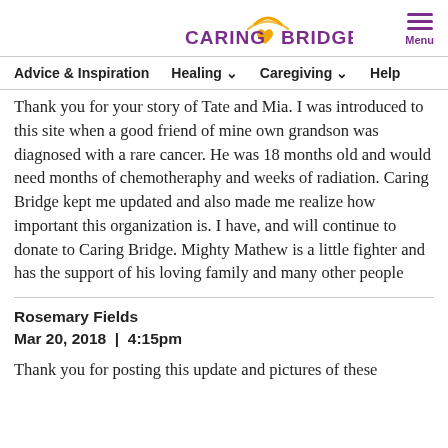CaringBridge — Menu
Advice & Inspiration   Healing ▾   Caregiving ▾   Help
Thank you for your story of Tate and Mia. I was introduced to this site when a good friend of mine own grandson was diagnosed with a rare cancer. He was 18 months old and would need months of chemotheraphy and weeks of radiation. Caring Bridge kept me updated and also made me realize how important this organization is. I have, and will continue to donate to Caring Bridge. Mighty Mathew is a little fighter and has the support of his loving family and many other people
Rosemary Fields
Mar 20, 2018  |  4:15pm
Thank you for posting this update and pictures of these